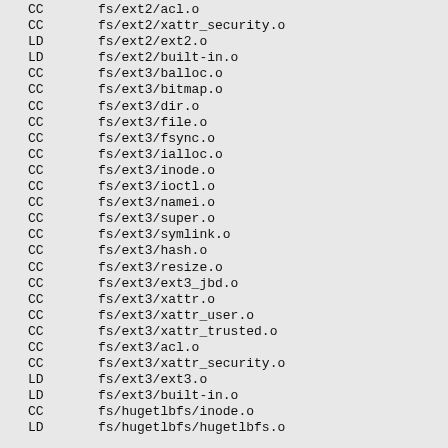CC  fs/ext2/acl.o
CC  fs/ext2/xattr_security.o
LD  fs/ext2/ext2.o
LD  fs/ext2/built-in.o
CC  fs/ext3/balloc.o
CC  fs/ext3/bitmap.o
CC  fs/ext3/dir.o
CC  fs/ext3/file.o
CC  fs/ext3/fsync.o
CC  fs/ext3/ialloc.o
CC  fs/ext3/inode.o
CC  fs/ext3/ioctl.o
CC  fs/ext3/namei.o
CC  fs/ext3/super.o
CC  fs/ext3/symlink.o
CC  fs/ext3/hash.o
CC  fs/ext3/resize.o
CC  fs/ext3/ext3_jbd.o
CC  fs/ext3/xattr.o
CC  fs/ext3/xattr_user.o
CC  fs/ext3/xattr_trusted.o
CC  fs/ext3/acl.o
CC  fs/ext3/xattr_security.o
LD  fs/ext3/ext3.o
LD  fs/ext3/built-in.o
CC  fs/hugetlbfs/inode.o
LD  fs/hugetlbfs/hugetlbfs.o